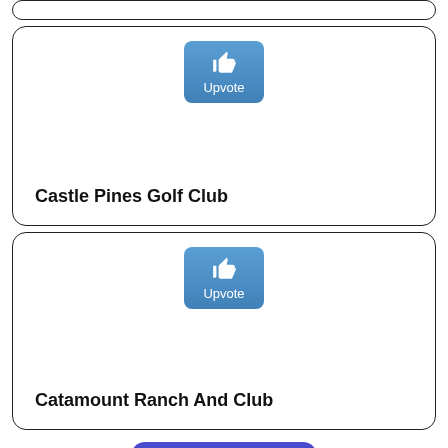[Figure (screenshot): Partially visible card with rounded border at top of page]
Upvote button for Castle Pines Golf Club
Castle Pines Golf Club
Upvote button for Catamount Ranch And Club
Catamount Ranch And Club
Load More
Home
Terms and Conditions